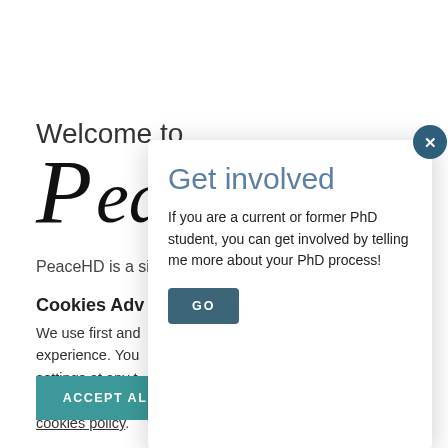Welcome to
[Figure (logo): PeaceHD logo with large stylized italic P and cursive text 'ea']
PeaceHD is a site
Cookies Adv
We use first and experience. You settings at any time reject clicking re cookies policy.
ACCEPT ALL COOKIES
Get involved
If you are a current or former PhD student, you can get involved by telling me more about your PhD process!
GO